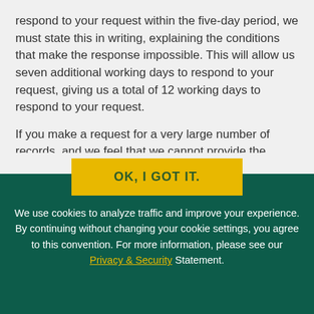respond to your request within the five-day period, we must state this in writing, explaining the conditions that make the response impossible. This will allow us seven additional working days to respond to your request, giving us a total of 12 working days to respond to your request.
If you make a request for a very large number of records, and we feel that we cannot provide the records to you within 12 working days without disrupting our the
OK, I GOT IT.
We use cookies to analyze traffic and improve your experience. By continuing without changing your cookie settings, you agree to this convention. For more information, please see our Privacy & Security Statement.